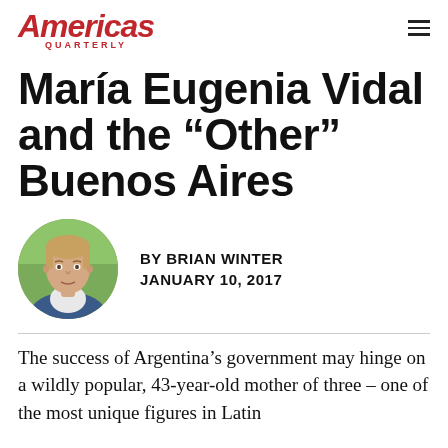Americas Quarterly
María Eugenia Vidal and the “Other” Buenos Aires
BY BRIAN WINTER
JANUARY 10, 2017
[Figure (photo): Circular headshot photo of Brian Winter, a middle-aged man in a blue blazer against a green outdoor background.]
The success of Argentina’s government may hinge on a wildly popular, 43-year-old mother of three – one of the most unique figures in Latin